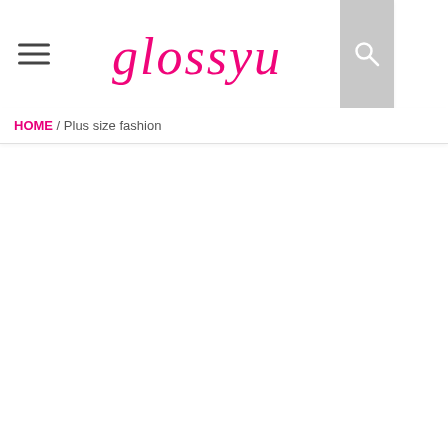[Figure (logo): Glossy U logo in pink cursive script]
HOME / Plus size fashion